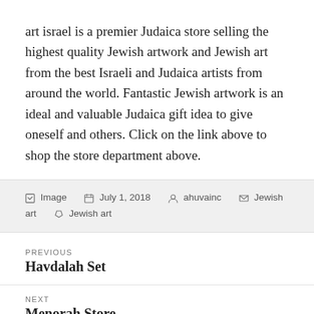art israel is a premier Judaica store selling the highest quality Jewish artwork and Jewish art from the best Israeli and Judaica artists from around the world. Fantastic Jewish artwork is an ideal and valuable Judaica gift idea to give oneself and others. Click on the link above to shop the store department above.
Image  July 1, 2018  ahuvainc  Jewish art  Jewish art
PREVIOUS
Havdalah Set
NEXT
Menorah Store